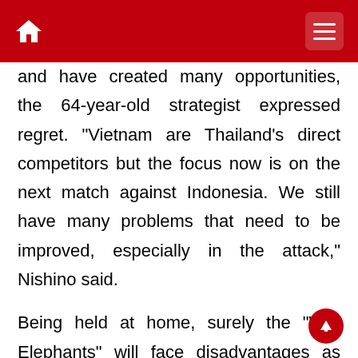and have created many opportunities, the 64-year-old strategist expressed regret. "Vietnam are Thailand's direct competitors but the focus now is on the next match against Indonesia. We still have many problems that need to be improved, especially in the attack," Nishino said.
Being held at home, surely the "War Elephants" will face disadvantages as playing guests in the second matchday at Gelora Bung Karno Stadium in Jakarta. After the match, Thai-Lan press expressed dissatisfaction when the home team only got a 0-0 draw against Vietnam. In the article "Nishino debuted! Thailand cannot beat Vietnam in the opening match of the World Cup